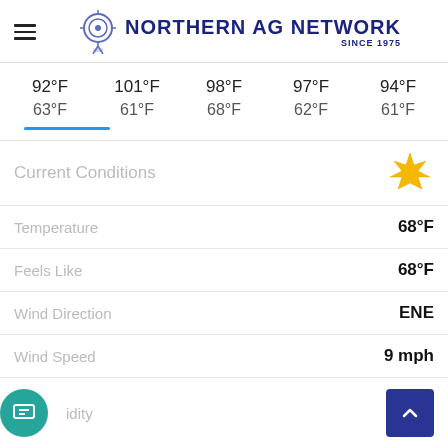Northern AG Network Since 1975
| Day1 High | Day2 High | Day3 High | Day4 High | Day5 High |
| --- | --- | --- | --- | --- |
| 92°F | 101°F | 98°F | 97°F | 94°F |
| 63°F | 61°F | 68°F | 62°F | 61°F |
Current Conditions
Temperature: 68°F
Feels Like: 68°F
Wind Direction: ENE
Wind Speed: 9 mph
Humidity
Barometer: 30.09 inHg